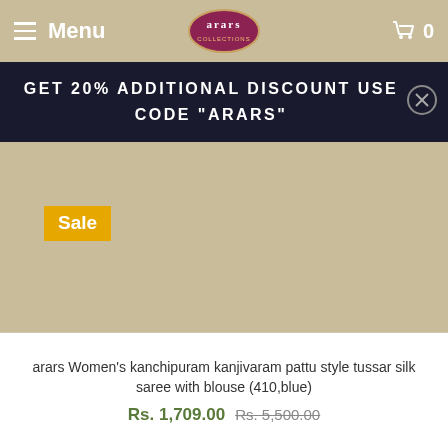Menu | arars logo | Cart 0
GET 20% ADDITIONAL DISCOUNT USE CODE "ARARS"
Sale
[Figure (photo): Product image area for arars Women's kanchipuram kanjivaram pattu style tussar silk saree with blouse (410,blue) - mostly blank/tan background visible]
arars Women's kanchipuram kanjivaram pattu style tussar silk saree with blouse (410,blue)
Rs. 1,709.00 Rs. 5,500.00